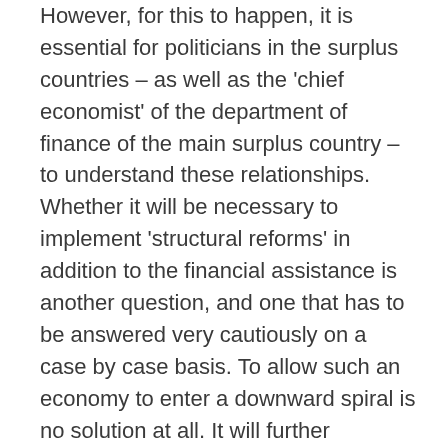However, for this to happen, it is essential for politicians in the surplus countries – as well as the 'chief economist' of the department of finance of the main surplus country – to understand these relationships. Whether it will be necessary to implement 'structural reforms' in addition to the financial assistance is another question, and one that has to be answered very cautiously on a case by case basis. To allow such an economy to enter a downward spiral is no solution at all. It will further deteriorate public and private finances and will ask for even more assistance from the surplus countries.